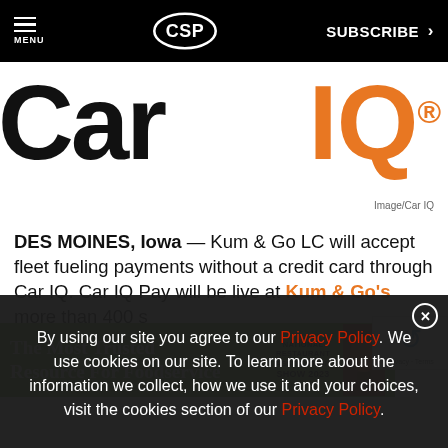MENU | CSP | SUBSCRIBE >
[Figure (logo): Car IQ logo — 'Car' in large black text and 'IQ' in large orange text with registered trademark symbol]
Image/Car IQ
DES MOINES, Iowa — Kum & Go LC will accept fleet fueling payments without a credit card through Car IQ. Car IQ Pay will be live at Kum & Go's more than 400 locations across
[Figure (screenshot): Advertisement banner: green background with white text 'The Most Trusted Resource For Foodservice' and National Restaurant Association Show 2023 logo with food image]
By using our site you agree to our Privacy Policy. We use cookies on our site. To learn more about the information we collect, how we use it and your choices, visit the cookies section of our Privacy Policy.